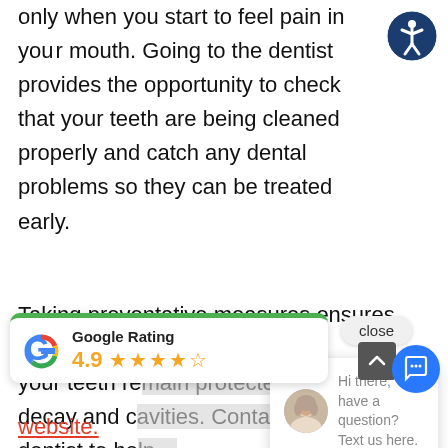Visit your dentist every 4-6 months, not only when you start to feel pain in your mouth. Going to the dentist provides the opportunity to check that your teeth are being cleaned properly and catch any dental problems so they can be treated early.
Taking preventative measures ensures that your teeth remain protected from tooth decay and cavities. Contact your dentist to help...
[Figure (screenshot): Accessibility icon (person in circle) in top right corner]
[Figure (screenshot): Close tooltip button overlay]
[Figure (screenshot): Chat popup with avatar saying 'Hi there, have a question? Text us here.']
[Figure (screenshot): Google Rating widget showing 4.9 stars with green bar at top]
an appointment
9) 444-1001, or
through our
website.